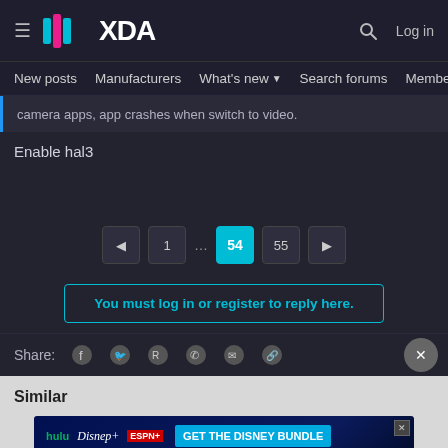XDA Developers — Log in
New posts  Manufacturers  What's new  Search forums  Members  >
camera apps, app crashes when switch to video.
Enable hal3
◄  1  …  54  55  ►
You must log in or register to reply here.
Share:
[Figure (screenshot): Disney bundle advertisement banner with Hulu, Disney+, ESPN+ logos and GET THE DISNEY BUNDLE CTA]
Similar
Install MIUI 12.5 2.0 on Redmi 4X